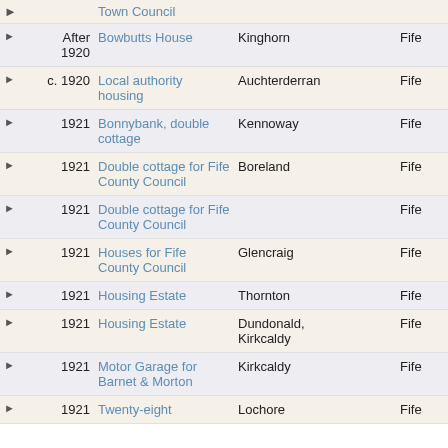|  | Year | Name | Location |  | County |  |
| --- | --- | --- | --- | --- | --- | --- |
| ▶ |  | Town Council |  |  |  |  |
| ▶ | After 1920 | Bowbutts House | Kinghorn |  | Fife | S |
| ▶ | c. 1920 | Local authority housing | Auchterderran |  | Fife | S |
| ▶ | 1921 | Bonnybank, double cottage | Kennoway |  | Fife | S |
| ▶ | 1921 | Double cottage for Fife County Council | Boreland |  | Fife | S |
| ▶ | 1921 | Double cottage for Fife County Council |  |  | Fife | S |
| ▶ | 1921 | Houses for Fife County Council | Glencraig |  | Fife | S |
| ▶ | 1921 | Housing Estate | Thornton |  | Fife | S |
| ▶ | 1921 | Housing Estate | Dundonald, Kirkcaldy |  | Fife | S |
| ▶ | 1921 | Motor Garage for Barnet & Morton | Kirkcaldy |  | Fife | S |
| ▶ | 1921 | Twenty-eight | Lochore |  | Fife | S |